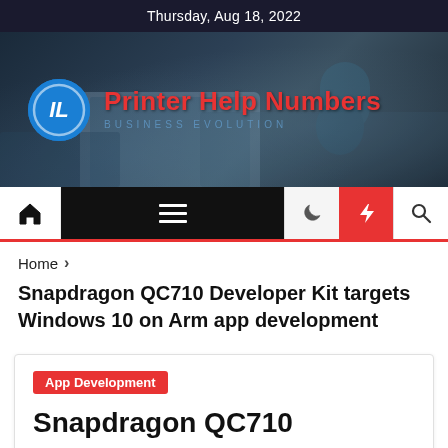Thursday, Aug 18, 2022
[Figure (screenshot): Website banner with dark background showing office/laptop scene, blue circular logo with 'IL' letters, red text 'Printer Help Numbers' and subtitle 'BUSINESS EVOLUTION']
[Figure (infographic): Navigation bar with home icon, hamburger menu on dark background, moon icon, red lightning bolt icon, and search icon]
Home > Snapdragon QC710 Developer Kit targets Windows 10 on Arm app development
Snapdragon QC710 Developer Kit targets Windows 10 on Arm app development
App Development
Snapdragon QC710